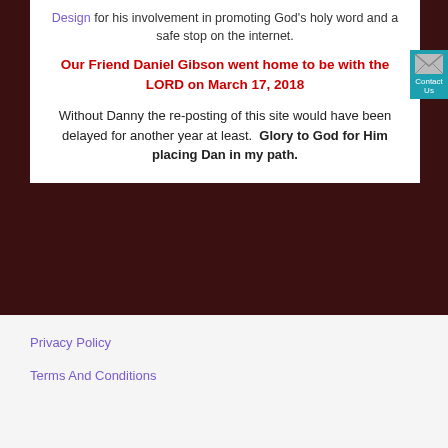Design for his involvement in promoting God's holy word and a safe stop on the internet.
Our Friend Daniel Gibson went home to be with the LORD on March 17, 2018
Without Danny the re-posting of this site would have been delayed for another year at least. Glory to God for Him placing Dan in my path.
Privacy Policy
Terms And Conditions